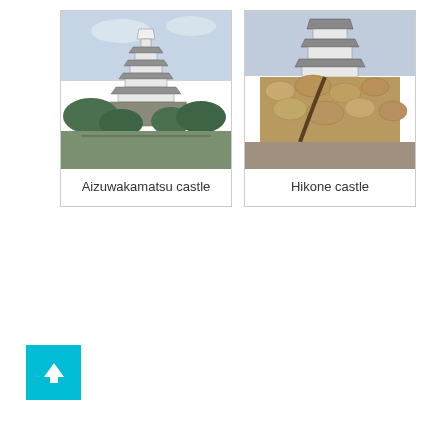[Figure (photo): Photo of Aizuwakamatsu castle, a multi-tiered white Japanese castle tower surrounded by trees and stone base]
Aizuwakamatsu castle
[Figure (photo): Photo of Hikone castle, a Japanese castle with curved roofs sitting atop a large stone wall, with bare trees nearby]
Hikone castle
[Figure (other): Teal/cyan square button with an upward-pointing white arrow icon]